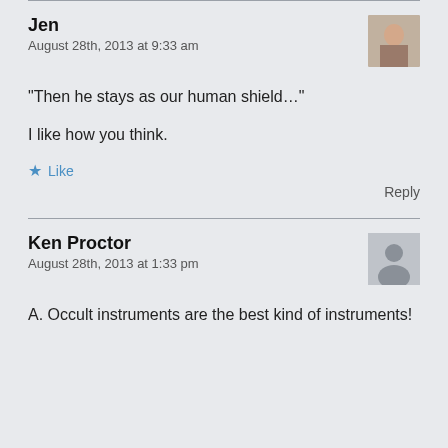Jen
August 28th, 2013 at 9:33 am
“Then he stays as our human shield…”

I like how you think.
★ Like
Reply
Ken Proctor
August 28th, 2013 at 1:33 pm
A. Occult instruments are the best kind of instruments!